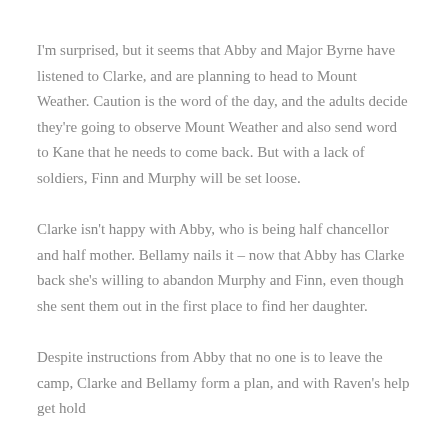I'm surprised, but it seems that Abby and Major Byrne have listened to Clarke, and are planning to head to Mount Weather. Caution is the word of the day, and the adults decide they're going to observe Mount Weather and also send word to Kane that he needs to come back. But with a lack of soldiers, Finn and Murphy will be set loose.
Clarke isn't happy with Abby, who is being half chancellor and half mother. Bellamy nails it – now that Abby has Clarke back she's willing to abandon Murphy and Finn, even though she sent them out in the first place to find her daughter.
Despite instructions from Abby that no one is to leave the camp, Clarke and Bellamy form a plan, and with Raven's help get hold